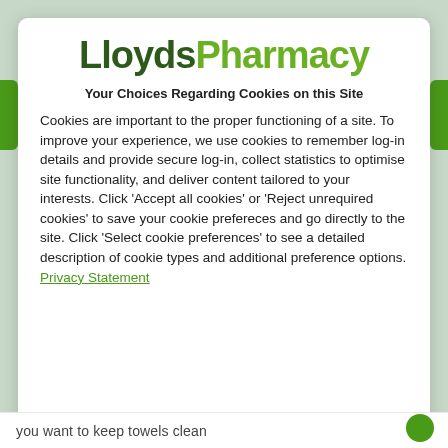[Figure (logo): LloydsParmacy logo with 'Lloyds' in dark green bold and 'Pharmacy' in light green bold]
Your Choices Regarding Cookies on this Site
Cookies are important to the proper functioning of a site. To improve your experience, we use cookies to remember log-in details and provide secure log-in, collect statistics to optimise site functionality, and deliver content tailored to your interests. Click 'Accept all cookies' or 'Reject unrequired cookies' to save your cookie prefereces and go directly to the site. Click 'Select cookie preferences' to see a detailed description of cookie types and additional preference options. Privacy Statement
you want to keep towels clean